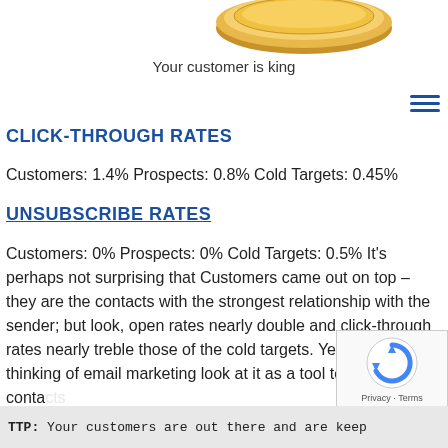[Figure (photo): Gold coin or award medal, partially visible at top of page]
Your customer is king
CLICK-THROUGH RATES
Customers: 1.4% Prospects: 0.8% Cold Targets: 0.45%
UNSUBSCRIBE RATES
Customers: 0% Prospects: 0% Cold Targets: 0.5% It's perhaps not surprising that Customers came out on top – they are the contacts with the strongest relationship with the sender; but look, open rates nearly double and click-through rates nearly treble those of the cold targets. Yet most people thinking of email marketing look at it as a tool to target new contacts
TTP: Your customers are out there and are keep